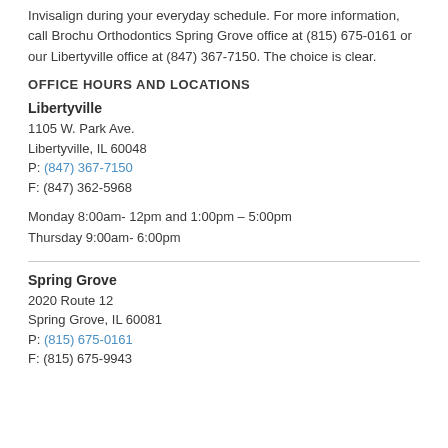Invisalign during your everyday schedule. For more information, call Brochu Orthodontics Spring Grove office at (815) 675-0161 or our Libertyville office at (847) 367-7150. The choice is clear.
OFFICE HOURS AND LOCATIONS
Libertyville
1105 W. Park Ave.
Libertyville, IL 60048
P: (847) 367-7150
F: (847) 362-5968
Monday 8:00am- 12pm and 1:00pm – 5:00pm
Thursday 9:00am- 6:00pm
Spring Grove
2020 Route 12
Spring Grove, IL 60081
P: (815) 675-0161
F: (815) 675-9943